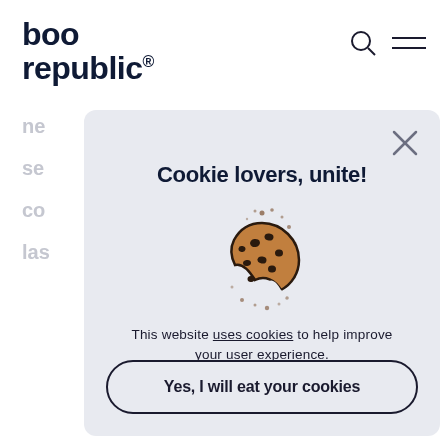boo republic®
[Figure (screenshot): Cookie consent modal overlay on boo republic website. Modal has light lavender/grey background with 'Cookie lovers, unite!' title, a bitten cookie illustration with crumbs, text 'This website uses cookies to help improve your user experience.' and a button 'Yes, I will eat your cookies'. A close X button is in the top right corner.]
Cookie lovers, unite!
This website uses cookies to help improve your user experience.
Yes, I will eat your cookies